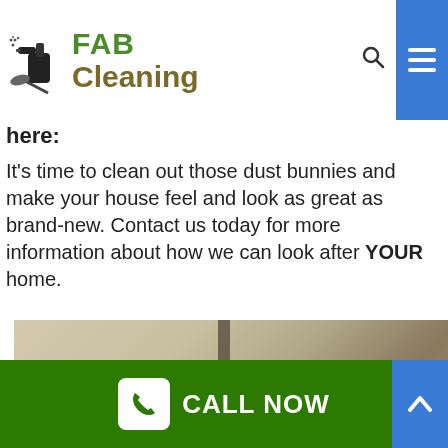[Figure (logo): FAB Cleaning logo with cleaning spray bottle icon, 'FAB' in green and 'Cleaning' in olive/brown bold text]
here:
It's time to clean out those dust bunnies and make your house feel and look as great as brand-new. Contact us today for more information about how we can look after YOUR home.
[Figure (photo): Interior room photo showing walls and a blue-clothed figure, blurred/close-up view]
CALL NOW